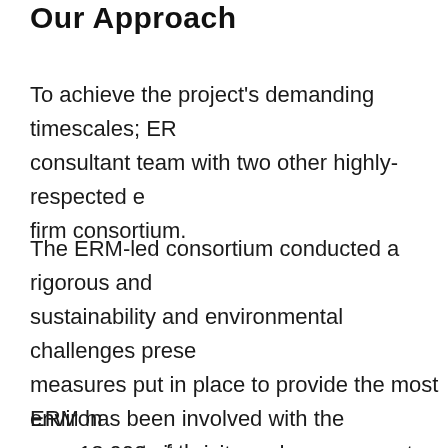Our Approach
To achieve the project's demanding timescales; ER consultant team with two other highly-respected e firm consortium.
The ERM-led consortium conducted a rigorous an sustainability and environmental challenges prese measures put in place to provide the most environ over 13,000 site visits and engagement with over 6 consortium was responsible for half of the EIA wor
ERM has been involved with the assessment of the